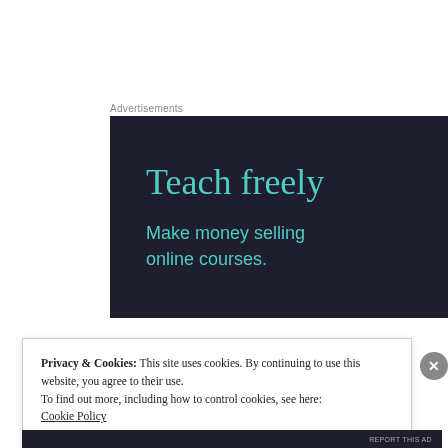Advertisements
[Figure (infographic): Dark navy advertisement banner with teal text reading 'Teach freely' as the headline and 'Make money selling online courses.' as the subtitle.]
Privacy & Cookies: This site uses cookies. By continuing to use this website, you agree to their use.
To find out more, including how to control cookies, see here:
Cookie Policy
Close and accept